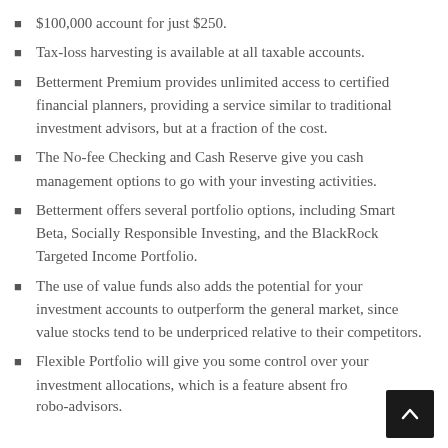$100,000 account for just $250.
Tax-loss harvesting is available at all taxable accounts.
Betterment Premium provides unlimited access to certified financial planners, providing a service similar to traditional investment advisors, but at a fraction of the cost.
The No-fee Checking and Cash Reserve give you cash management options to go with your investing activities.
Betterment offers several portfolio options, including Smart Beta, Socially Responsible Investing, and the BlackRock Targeted Income Portfolio.
The use of value funds also adds the potential for your investment accounts to outperform the general market, since value stocks tend to be underpriced relative to their competitors.
Flexible Portfolio will give you some control over your investment allocations, which is a feature absent from most robo-advisors.